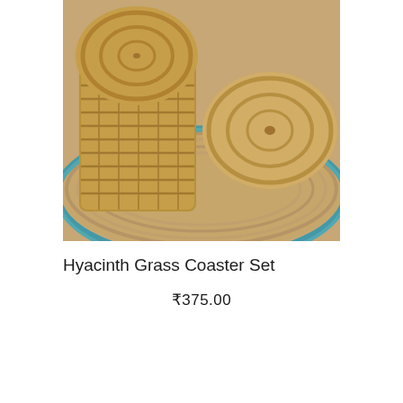[Figure (photo): Close-up photograph of woven water hyacinth grass coasters — a stack of round woven coasters in a holder on the left and a single coaster lying flat on the right, all resting on a braided jute/grass oval mat with teal/blue edges, shot on a white background.]
Hyacinth Grass Coaster Set
₹375.00